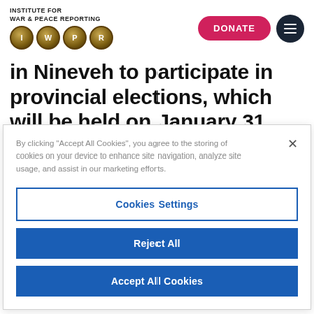[Figure (logo): Institute for War & Peace Reporting logo with IWPR circular emblems]
in Nineveh to participate in provincial elections, which will be held on January 31, 2009. Some of the lists belong to former
By clicking "Accept All Cookies", you agree to the storing of cookies on your device to enhance site navigation, analyze site usage, and assist in our marketing efforts.
Cookies Settings
Reject All
Accept All Cookies